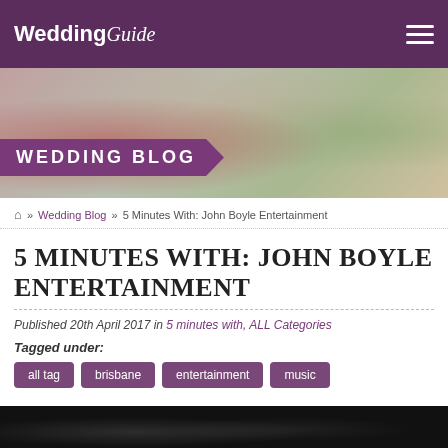Wedding Guide
[Figure (photo): Hero banner with blurred wedding decorations background and 'WEDDING BLOG' banner overlay]
Home » Wedding Blog » 5 Minutes With: John Boyle Entertainment
5 MINUTES WITH: JOHN BOYLE ENTERTAINMENT
Published 20th April 2017 in 5 minutes with, ALL Categories
Tagged under:
all tag
brisbane
entertainment
music
[Figure (photo): Dark background photo strip at bottom of page]